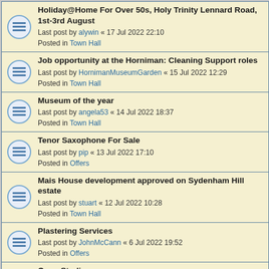Holiday@Home For Over 50s, Holy Trinity Lennard Road, 1st-3rd August
Last post by alywin « 17 Jul 2022 22:10
Posted in Town Hall
Job opportunity at the Horniman: Cleaning Support roles
Last post by HornimanMuseumGarden « 15 Jul 2022 12:29
Posted in Town Hall
Museum of the year
Last post by angela53 « 14 Jul 2022 18:37
Posted in Town Hall
Tenor Saxophone For Sale
Last post by pip « 13 Jul 2022 17:10
Posted in Offers
Mais House development approved on Sydenham Hill estate
Last post by stuart « 12 Jul 2022 10:28
Posted in Town Hall
Plastering Services
Last post by JohnMcCann « 6 Jul 2022 19:52
Posted in Offers
Open Studio
Last post by btozer49@gmail.com « 6 Jul 2022 13:58
Posted in Town Museum & Gallery
Wanted: stepper motors
Last post by PoopingPigeon « 4 Jul 2022 07:44
Posted in Wanted